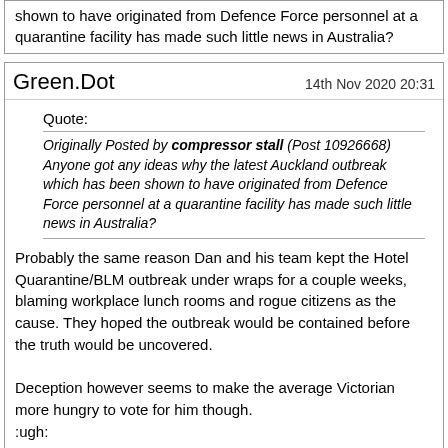shown to have originated from Defence Force personnel at a quarantine facility has made such little news in Australia?
Green.Dot — 14th Nov 2020 20:31
Quote: Originally Posted by compressor stall (Post 10926668) Anyone got any ideas why the latest Auckland outbreak which has been shown to have originated from Defence Force personnel at a quarantine facility has made such little news in Australia?
Probably the same reason Dan and his team kept the Hotel Quarantine/BLM outbreak under wraps for a couple weeks, blaming workplace lunch rooms and rogue citizens as the cause. They hoped the outbreak would be contained before the truth would be uncovered.

Deception however seems to make the average Victorian more hungry to vote for him though.
:ugh:
KRviator — 14th Nov 2020 22:34
Quote: Originally Posted by 601 (Post 10926314)